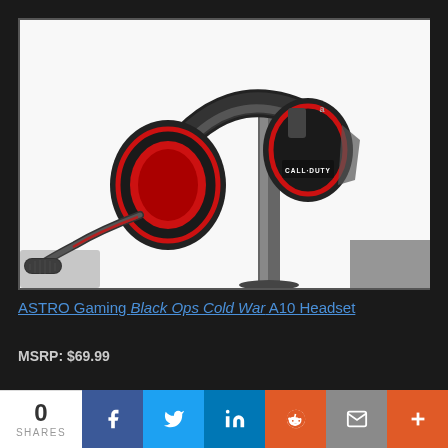[Figure (photo): ASTRO Gaming Black Ops Cold War A10 gaming headset displayed on a stand. The headset is black with red accents and ear cushion highlights, with 'CALL DUTY' branding on the ear cup and a flexible boom microphone extending from the left side.]
ASTRO Gaming Black Ops Cold War A10 Headset
MSRP: $69.99
0 SHARES